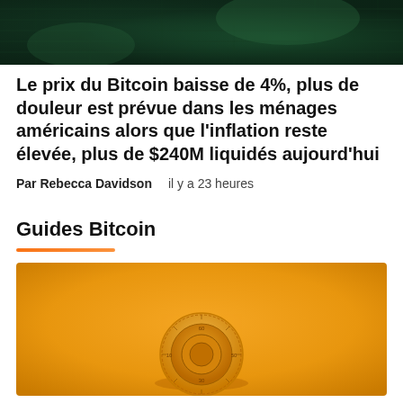[Figure (photo): Dark green fabric or textile background image at top of page]
Le prix du Bitcoin baisse de 4%, plus de douleur est prévue dans les ménages américains alors que l'inflation reste élevée, plus de $240M liquidés aujourd'hui
Par Rebecca Davidson   il y a 23 heures
Guides Bitcoin
[Figure (photo): Orange/yellow background with a circular combination lock dial in the center, suggesting security or safe]